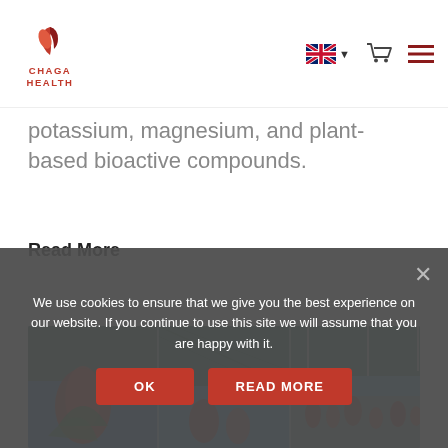[Figure (logo): Chaga Health logo with red leaf icon and red text CHAGA HEALTH]
[Figure (infographic): Navigation bar with UK flag language selector, shopping cart icon, and hamburger menu icon]
potassium, magnesium, and plant-based bioactive compounds.
Read More
[Figure (photo): Three-panel image strip showing aloe vera plants under green shade netting against blue sky, and fields of orange/red flowering aloe plants]
We use cookies to ensure that we give you the best experience on our website. If you continue to use this site we will assume that you are happy with it.
OK
READ MORE